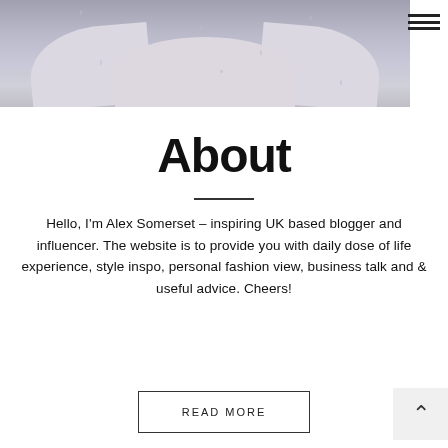[Figure (photo): A person wearing a light grey/white button-up shirt with rain droplets visible, photo cropped to show chest/collar area]
About
Hello, I'm Alex Somerset – inspiring UK based blogger and influencer. The website is to provide you with daily dose of life experience, style inspo, personal fashion view, business talk and & useful advice. Cheers!
READ MORE